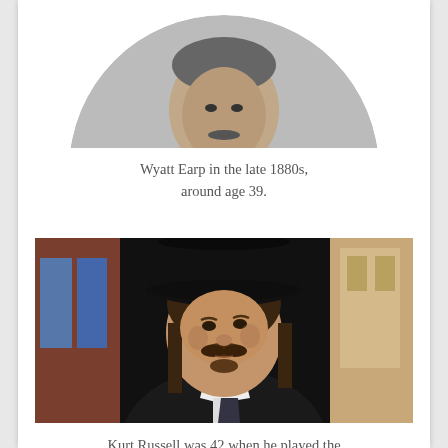[Figure (photo): Black and white circular portrait photograph showing Wyatt Earp from chest up, wearing a suit, in the late 1880s.]
Wyatt Earp in the late 1880s, around age 39.
[Figure (photo): Color photograph of Kurt Russell wearing a wide-brimmed black cowboy hat, dark period coat, and white collar, looking off to the side, playing Wyatt Earp in a film.]
Kurt Russell was 42 when he played the lawman on screen.